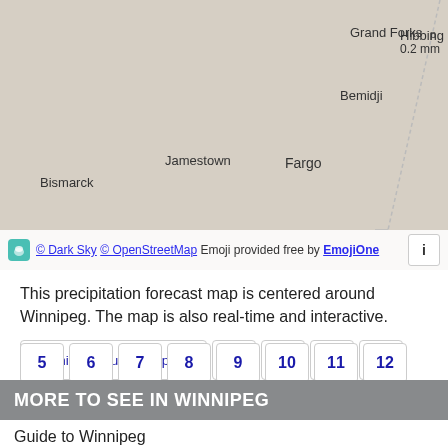[Figure (map): Precipitation forecast map showing US/Canada cities including Grand Forks, Bemidji, Hibbing, Bismarck, Jamestown, Fargo with Dark Sky and OpenStreetMap attribution.]
This precipitation forecast map is centered around Winnipeg. The map is also real-time and interactive.
Winnipeg - guide chapters  1  2  3  4
5  6  7  8  9  10  11  12
13
MORE TO SEE IN WINNIPEG
Guide to Winnipeg